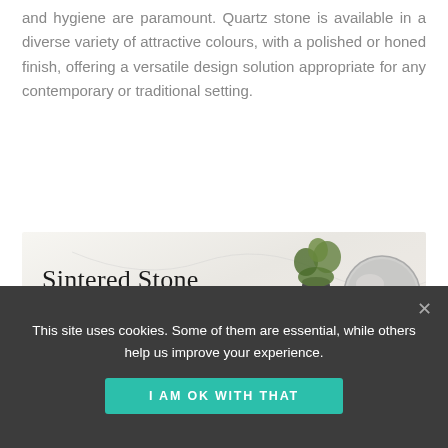and hygiene are paramount. Quartz stone is available in a diverse variety of attractive colours, with a polished or honed finish, offering a versatile design solution appropriate for any contemporary or traditional setting.
[Figure (photo): Photo of a bathroom/home interior scene with sintered stone marble-like background. White bowl/basin on the left, soap dispenser in the center, tall silver/dark metallic vases and a round mirror on the right, with green succulent plants. Text overlay reads 'Sintered Stone' in serif font on the left side.]
Sintered stone is a relatively new kind of ultracompact material with unique technical features and pleasing to the senses finishes. It's made of 100% natural minerals and oxides which meet the product...
This site uses cookies. Some of them are essential, while others help us improve your experience.
I AM OK WITH THAT